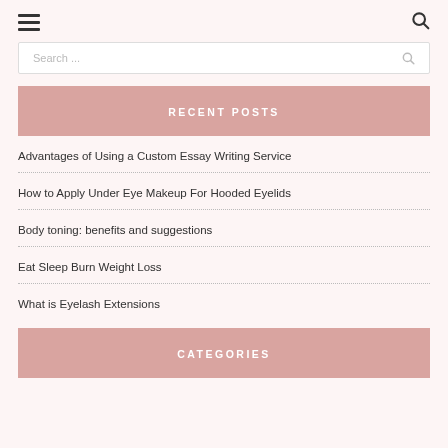☰ [menu icon] and [search icon]
Search ...
RECENT POSTS
Advantages of Using a Custom Essay Writing Service
How to Apply Under Eye Makeup For Hooded Eyelids
Body toning: benefits and suggestions
Eat Sleep Burn Weight Loss
What is Eyelash Extensions
CATEGORIES